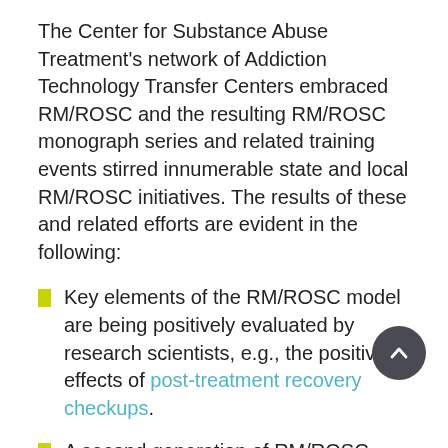The Center for Substance Abuse Treatment's network of Addiction Technology Transfer Centers embraced RM/ROSC and the resulting RM/ROSC monograph series and related training events stirred innumerable state and local RM/ROSC initiatives. The results of these and related efforts are evident in the following:
Key elements of the RM/ROSC model are being positively evaluated by research scientists, e.g., the positive effects of post-treatment recovery checkups.
A second generation of RM/ROSC leaders is providing training and